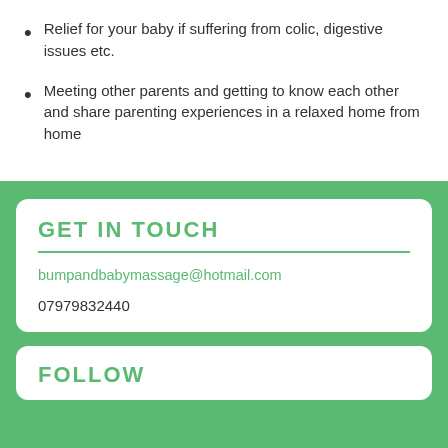Relief for your baby if suffering from colic, digestive issues etc.
Meeting other parents and getting to know each other and share parenting experiences in a relaxed home from home
GET IN TOUCH
bumpandbabymassage@hotmail.com
07979832440
FOLLOW